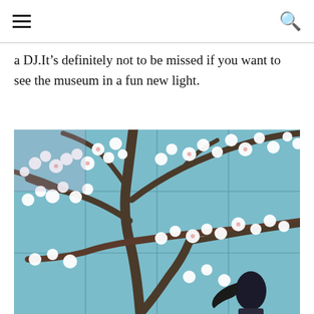[navigation bar with hamburger menu and search icon]
a DJ.It’s definitely not to be missed if you want to see the museum in a fun new light.
[Figure (photo): A person standing in front of Van Gogh's 'Almond Blossom' painting displayed as large tiles on a wall. The painting shows white blossoms on dark branches against a blue sky.]